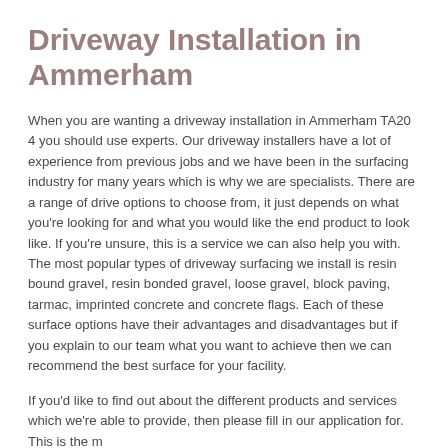Driveway Installation in Ammerham
When you are wanting a driveway installation in Ammerham TA20 4 you should use experts. Our driveway installers have a lot of experience from previous jobs and we have been in the surfacing industry for many years which is why we are specialists. There are a range of drive options to choose from, it just depends on what you're looking for and what you would like the end product to look like. If you're unsure, this is a service we can also help you with. The most popular types of driveway surfacing we install is resin bound gravel, resin bonded gravel, loose gravel, block paving, tarmac, imprinted concrete and concrete flags. Each of these surface options have their advantages and disadvantages but if you explain to our team what you want to achieve then we can recommend the best surface for your facility.
If you'd like to find out about the different products and services which we're able to provide, then please fill in our application for. This is the m...